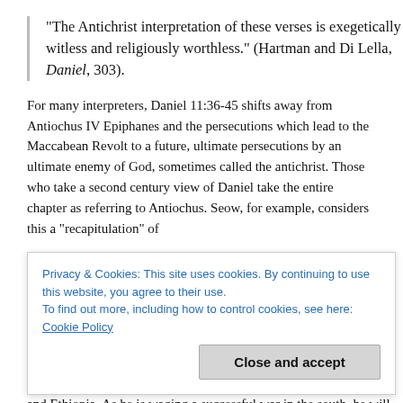“The Antichrist interpretation of these verses is exegetically witless and religiously worthless.” (Hartman and Di Lella, Daniel, 303).
For many interpreters, Daniel 11:36-45 shifts away from Antiochus IV Epiphanes and the persecutions which lead to the Maccabean Revolt to a future, ultimate persecutions by an ultimate enemy of God, sometimes called the antichrist. Those who take a second century view of Daniel take the entire chapter as referring to Antiochus. Seow, for example, considers this a “recapitulation” of
Privacy & Cookies: This site uses cookies. By continuing to use this website, you agree to their use.
To find out more, including how to control cookies, see here: Cookie Policy
against the Ptolemaic Egypt, Judea will suffer greatly although Moab, Edom, and Ammon will be spared. Antiochus will be successful in plundering all of North Africa, including Egypt, Lydia and Ethiopia. As he is waging a successful war in the south, he will